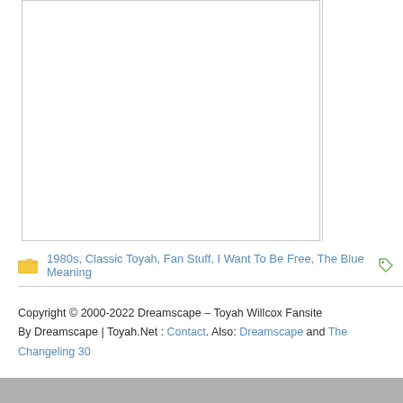[Figure (other): Two white panel boxes with gray borders side by side — a large left panel and a narrow right panel]
1980s, Classic Toyah, Fan Stuff, I Want To Be Free, The Blue Meaning
Copyright © 2000-2022 Dreamscape – Toyah Willcox Fansite
By Dreamscape | Toyah.Net : Contact. Also: Dreamscape and The Changeling 30